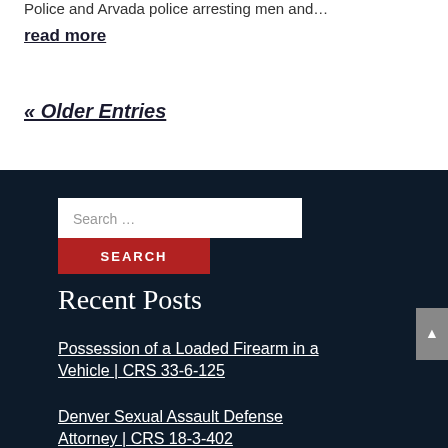Police and Arvada police arresting men and…
read more
« Older Entries
[Figure (screenshot): Search bar widget with white input box showing 'Search …' placeholder text and a red 'SEARCH' button below it, on a dark navy background]
Recent Posts
Possession of a Loaded Firearm in a Vehicle | CRS 33-6-125
Denver Sexual Assault Defense Attorney | CRS 18-3-402